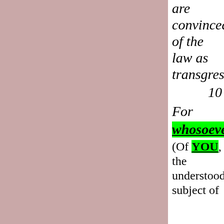are convinced of the law as transgres-
10
For whosoever (Of YOU, the understood subject of